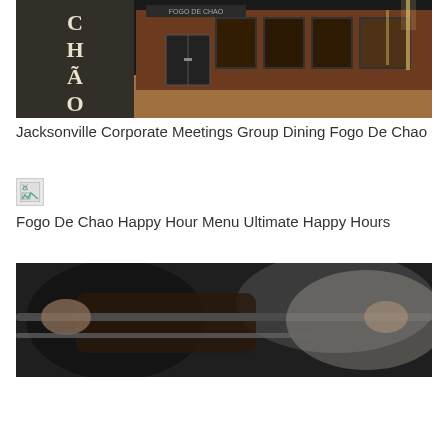[Figure (photo): Exterior night photo of Fogo De Chao restaurant building with illuminated signage showing stylized C H A O letters on left panel, warm lit entrance with glass doors on right, brick and stone facade]
Jacksonville Corporate Meetings Group Dining Fogo De Chao
[Figure (photo): Small broken/missing image placeholder icon]
Fogo De Chao Happy Hour Menu Ultimate Happy Hours
[Figure (photo): Blurred close-up photo of meat being carved or grilled, dark tones with hands visible holding carving implements]